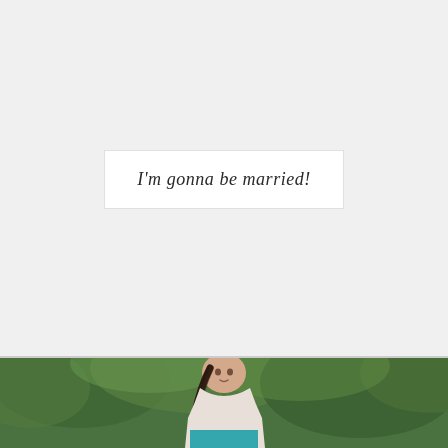I'm gonna be married!
[Figure (photo): A young woman with a dark braid, wearing a white lace top and teal dress, photographed outdoors in front of green foliage and trees.]